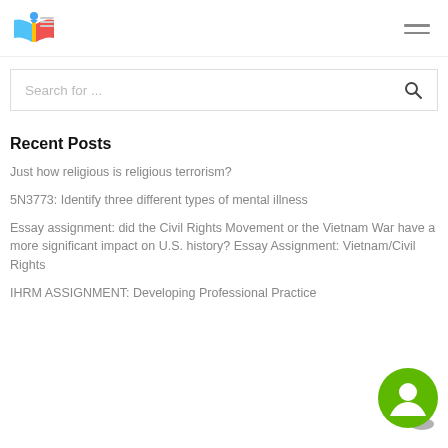Logo and navigation menu
Search for ...
Recent Posts
Just how religious is religious terrorism?
5N3773: Identify three different types of mental illness
Essay assignment: did the Civil Rights Movement or the Vietnam War have a more significant impact on U.S. history? Essay Assignment: Vietnam/Civil Rights
IHRM ASSIGNMENT: Developing Professional Practice